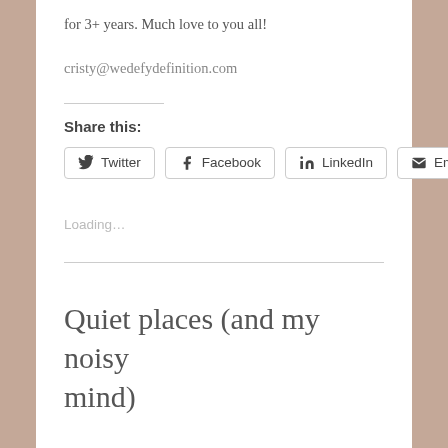for 3+ years. Much love to you all!
cristy@wedefydefinition.com
Share this:
Loading…
Quiet places (and my noisy mind)